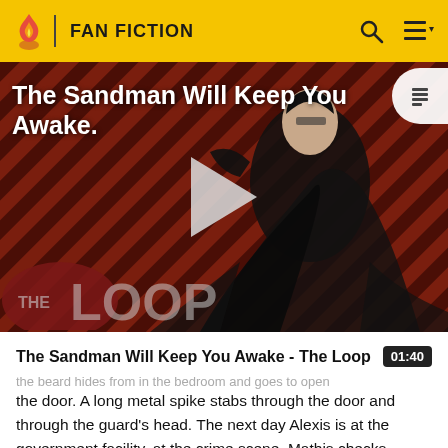FAN FICTION
[Figure (screenshot): Video thumbnail for 'The Sandman Will Keep You Awake - The Loop' showing a dark figure in a black cape against a diagonal striped red and dark background, with THE LOOP logo overlay and a play button in the center. Duration 01:40.]
The Sandman Will Keep You Awake - The Loop  01:40
the door. A long metal spike stabs through the door and through the guard's head. The next day Alexis is at the government facility, at the crime scene. Mathis checks